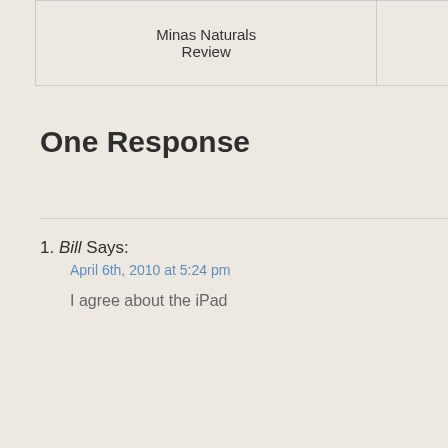| Minas Naturals Review | Saver Outlet Review |  |
| --- | --- | --- |
One Response
Bill Says:
April 6th, 2010 at 5:24 pm
I agree about the iPad
Copyright © CashSherpa.com - G...